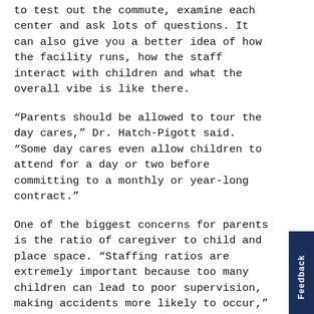to test out the commute, examine each center and ask lots of questions. It can also give you a better idea of how the facility runs, how the staff interact with children and what the overall vibe is like there.
“Parents should be allowed to tour the day cares,” Dr. Hatch-Pigott said. “Some day cares even allow children to attend for a day or two before committing to a monthly or year-long contract.”
One of the biggest concerns for parents is the ratio of caregiver to child and place space. “Staffing ratios are extremely important because too many children can lead to poor supervision, making accidents more likely to occur,” Dr Hatch-Pigott said. “Low child-to-adult ratios is also extremely important to your child’s social and